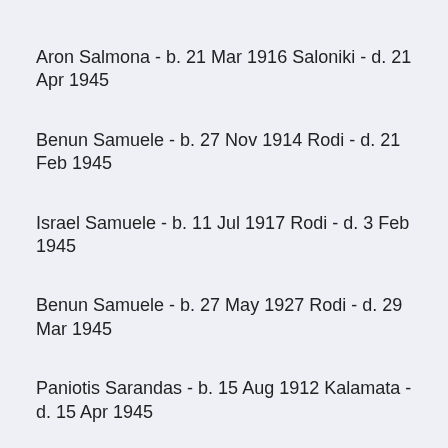Aron Salmona - b. 21 Mar 1916 Saloniki - d. 21 Apr 1945
Benun Samuele - b. 27 Nov 1914 Rodi - d. 21 Feb 1945
Israel Samuele - b. 11 Jul 1917 Rodi - d. 3 Feb 1945
Benun Samuele - b. 27 May 1927 Rodi - d. 29 Mar 1945
Paniotis Sarandas - b. 15 Aug 1912 Kalamata - d. 15 Apr 1945
Leone Scemaria - b. 3 Apr 1922 Rodi - d. 17 Mar 1945